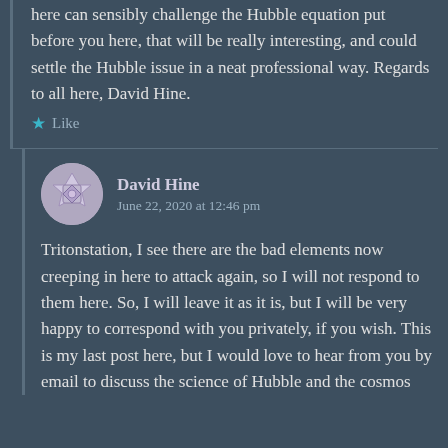here can sensibly challenge the Hubble equation put before you here, that will be really interesting, and could settle the Hubble issue in a neat professional way. Regards to all here, David Hine.
Like
David Hine
June 22, 2020 at 12:46 pm
Tritonstation, I see there are the bad elements now creeping in here to attack again, so I will not respond to them here. So, I will leave it as it is, but I will be very happy to correspond with you privately, if you wish. This is my last post here, but I would love to hear from you by email to discuss the science of Hubble and the cosmos